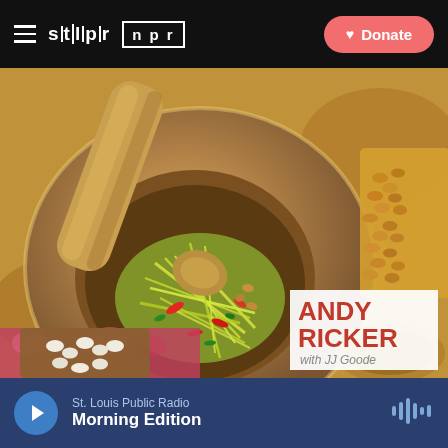stlpr | npr — Donate
[Figure (photo): Close-up photo of a wooden mortar and pestle containing shredded green papaya salad with red chilis and herbs. In the background are peanuts and other ingredients. A white book badge overlay in the bottom right reads 'ANDY RICKER with JJ Goode'.]
St. Louis Public Radio — Morning Edition